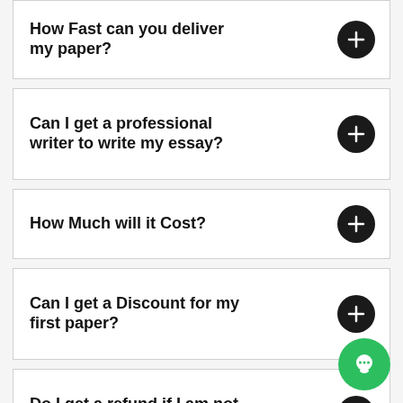How Fast can you deliver my paper?
Can I get a professional writer to write my essay?
How Much will it Cost?
Can I get a Discount for my first paper?
Do I get a refund if I am not satisfied with the paper?
'One More Question'?